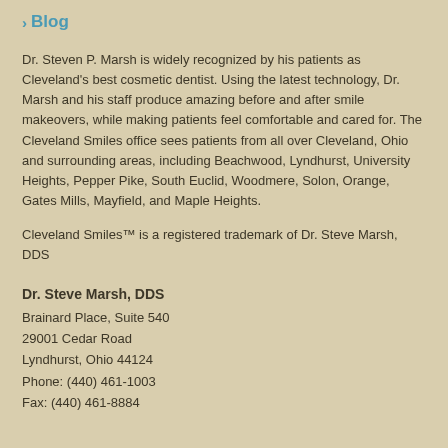Blog
Dr. Steven P. Marsh is widely recognized by his patients as Cleveland's best cosmetic dentist. Using the latest technology, Dr. Marsh and his staff produce amazing before and after smile makeovers, while making patients feel comfortable and cared for. The Cleveland Smiles office sees patients from all over Cleveland, Ohio and surrounding areas, including Beachwood, Lyndhurst, University Heights, Pepper Pike, South Euclid, Woodmere, Solon, Orange, Gates Mills, Mayfield, and Maple Heights.
Cleveland Smiles™ is a registered trademark of Dr. Steve Marsh, DDS
Dr. Steve Marsh, DDS
Brainard Place, Suite 540
29001 Cedar Road
Lyndhurst, Ohio 44124
Phone: (440) 461-1003
Fax: (440) 461-8884